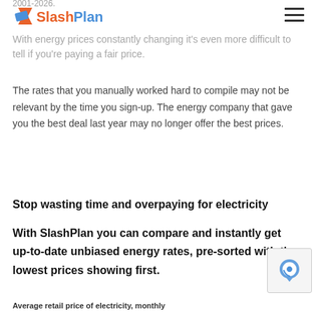2001-2026. SlashPlan
With energy prices constantly changing it's even more difficult to tell if you're paying a fair price.
The rates that you manually worked hard to compile may not be relevant by the time you sign-up. The energy company that gave you the best deal last year may no longer offer the best prices.
Stop wasting time and overpaying for electricity
With SlashPlan you can compare and instantly get up-to-date unbiased energy rates, pre-sorted with the lowest prices showing first.
Average retail price of electricity, monthly